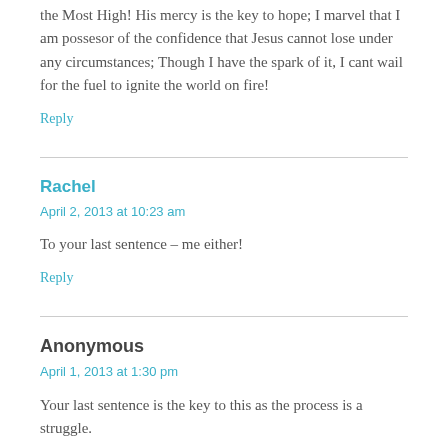the Most High! His mercy is the key to hope; I marvel that I am possesor of the confidence that Jesus cannot lose under any circumstances; Though I have the spark of it, I cant wail for the fuel to ignite the world on fire!
Reply
Rachel
April 2, 2013 at 10:23 am
To your last sentence – me either!
Reply
Anonymous
April 1, 2013 at 1:30 pm
Your last sentence is the key to this as the process is a struggle.
Reply